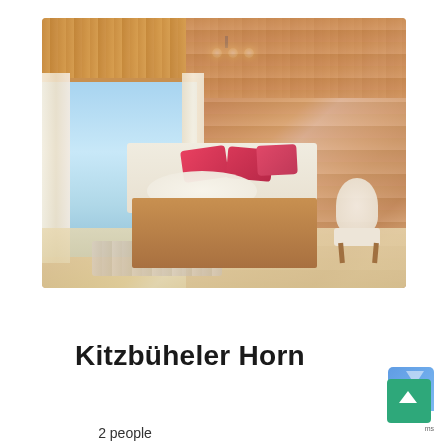[Figure (photo): Interior photo of a cozy Alpine hotel bedroom (Kitzbüheler Horn room) featuring a wooden plank ceiling and walls, a large wooden bed with pink/red pillows and white fur throw, a fluffy white armchair, sliding glass doors opening to a balcony with mountain views, white curtains, and a light fixture on the ceiling.]
Kitzbüheler Horn
2 people